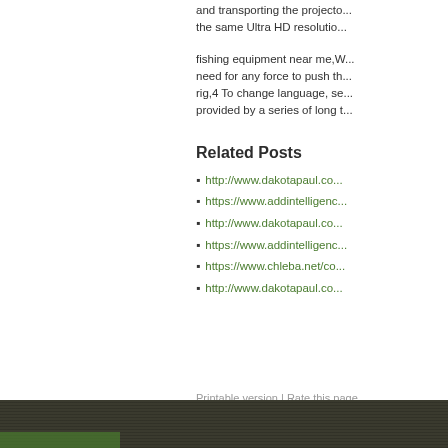and transporting the projecto... the same Ultra HD resolutio...
fishing equipment near me,W... need for any force to push th... rig,4 To change language, se... provided by a series of long t...
Related Posts
http://www.dakotapaul.co...
https://www.addintelligenc...
http://www.dakotapaul.co...
https://www.addintelligenc...
https://www.chleba.net/co...
http://www.dakotapaul.co...
Printable version | Rate this page... Site by ToadShow